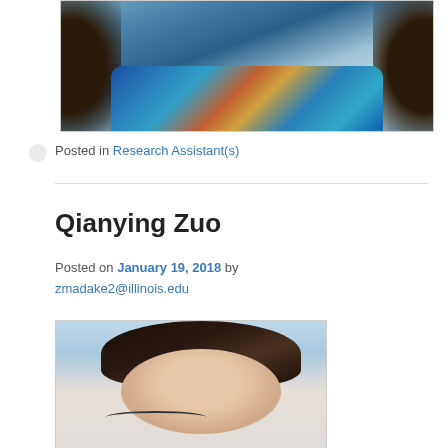[Figure (photo): Partial photo of a person wearing a colorful blue patterned top, with curly dark hair visible on sides]
Posted in Research Assistant(s)
Qianying Zuo
Posted on January 19, 2018 by zmadake2@illinois.edu
[Figure (photo): Photo of Qianying Zuo, a young woman with dark hair and glasses]